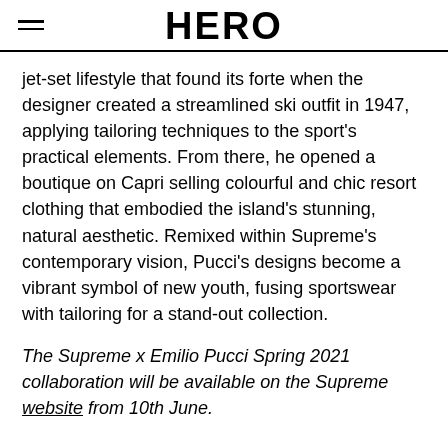HERO
jet-set lifestyle that found its forte when the designer created a streamlined ski outfit in 1947, applying tailoring techniques to the sport's practical elements. From there, he opened a boutique on Capri selling colourful and chic resort clothing that embodied the island's stunning, natural aesthetic. Remixed within Supreme's contemporary vision, Pucci's designs become a vibrant symbol of new youth, fusing sportswear with tailoring for a stand-out collection.
The Supreme x Emilio Pucci Spring 2021 collaboration will be available on the Supreme website from 10th June.